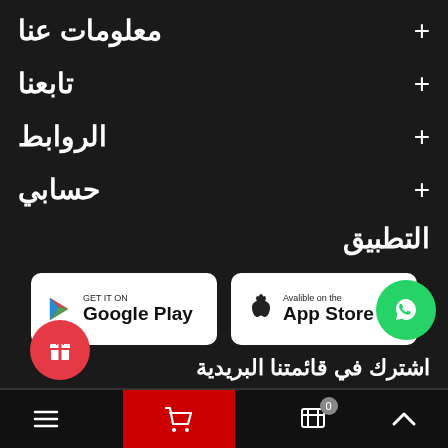معلومات عنا
تابعنا
الروابط
حسابي
التطبيق
[Figure (screenshot): Google Play and App Store download badges]
اشترك في قائمتنا البريدية
[Figure (illustration): WhatsApp floating button (green circle)]
[Figure (illustration): Gift floating button (red circle)]
Bottom navigation bar with cart (0), checkout, and menu icons